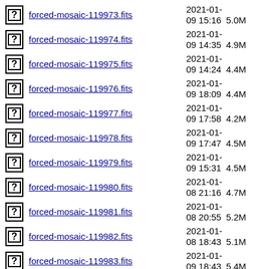forced-mosaic-119973.fits  2021-01-09 15:16  5.0M
forced-mosaic-119974.fits  2021-01-09 14:35  4.9M
forced-mosaic-119975.fits  2021-01-09 14:24  4.4M
forced-mosaic-119976.fits  2021-01-09 18:09  4.4M
forced-mosaic-119977.fits  2021-01-09 17:58  4.2M
forced-mosaic-119978.fits  2021-01-09 17:47  4.5M
forced-mosaic-119979.fits  2021-01-09 15:31  4.5M
forced-mosaic-119980.fits  2021-01-08 21:16  4.7M
forced-mosaic-119981.fits  2021-01-08 20:55  5.2M
forced-mosaic-119982.fits  2021-01-08 18:43  5.1M
forced-mosaic-119983.fits  2021-01-09 18:43  5.4M
forced-mosaic-119984.fits  2021-01-  4.7M